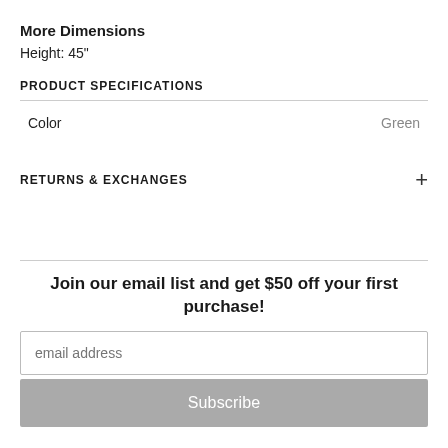More Dimensions
Height: 45"
PRODUCT SPECIFICATIONS
|  |  |
| --- | --- |
| Color | Green |
RETURNS & EXCHANGES
Join our email list and get $50 off your first purchase!